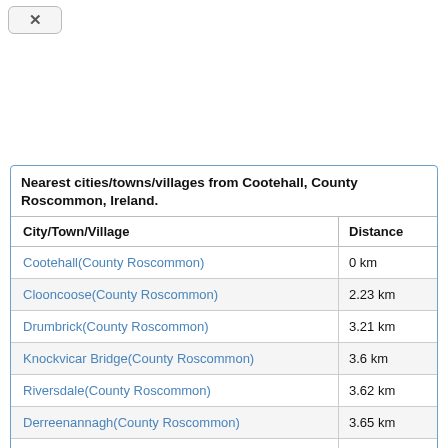[Figure (other): Back navigation button with left arrow icon]
| City/Town/Village | Distance |
| --- | --- |
| Cootehall(County Roscommon) | 0 km |
| Clooncoose(County Roscommon) | 2.23 km |
| Drumbrick(County Roscommon) | 3.21 km |
| Knockvicar Bridge(County Roscommon) | 3.6 km |
| Riversdale(County Roscommon) | 3.62 km |
| Derreenannagh(County Roscommon) | 3.65 km |
| Tumna(County Roscommon) | 3.8 km |